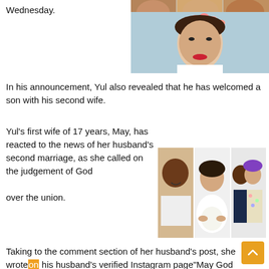[Figure (photo): Top strip: partial faces of people in a group photo on left; woman with flower crown and red lipstick smiling (bridal-style photo) on right]
Wednesday.
In his announcement, Yul also revealed that he has welcomed a son with his second wife.
Yul's first wife of 17 years, May, has reacted to the news of her husband's second marriage, as she called on the judgement of God over the union.
[Figure (photo): Three photos: man with baby (left), pregnant woman in white dress (center), man and woman with blue hair in patterned dress posing together (right)]
Taking to the comment section of her husband's post, she wrote on his husband's verified Instagram page"May God judge you both